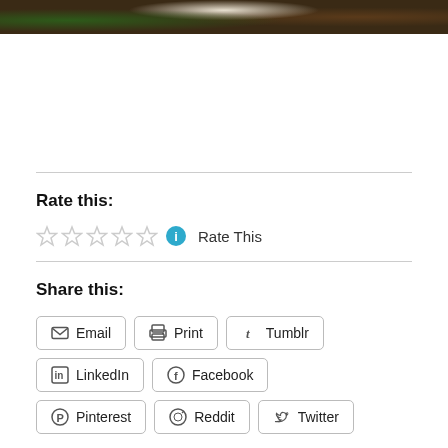[Figure (photo): Partial photo showing green leaves and dark soil/earth, cropped at top of page]
Rate this:
Rate This
Share this:
Email
Print
Tumblr
LinkedIn
Facebook
Pinterest
Reddit
Twitter